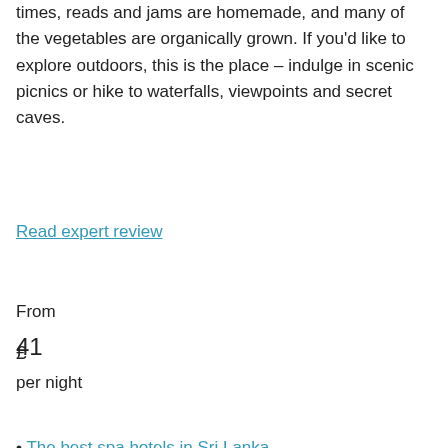times, reads and jams are homemade, and many of the vegetables are organically grown. If you'd like to explore outdoors, this is the place – indulge in scenic picnics or hike to waterfalls, viewpoints and secret caves.
Read expert review
From
£
41
per night
• The best spa hotels in Sri Lanka